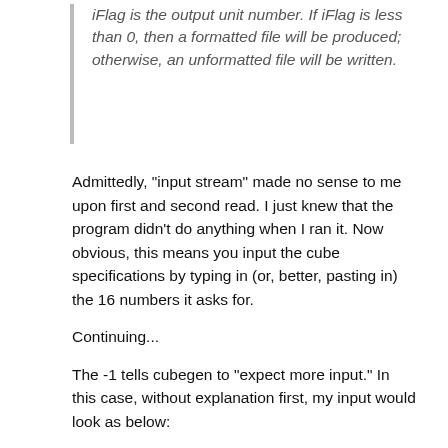iFlag is the output unit number. If iFlag is less than 0, then a formatted file will be produced; otherwise, an unformatted file will be written.
Admittedly, "input stream" made no sense to me upon first and second read. I just knew that the program didn't do anything when I ran it. Now obvious, this means you input the cube specifications by typing in (or, better, pasting in) the 16 numbers it asks for.
Continuing...
The -1 tells cubegen to "expect more input." In this case, without explanation first, my input would look as below:
-12   -6.50000   -9.00000  -11.50000
 60   -0.05000    0.00000    0.00000